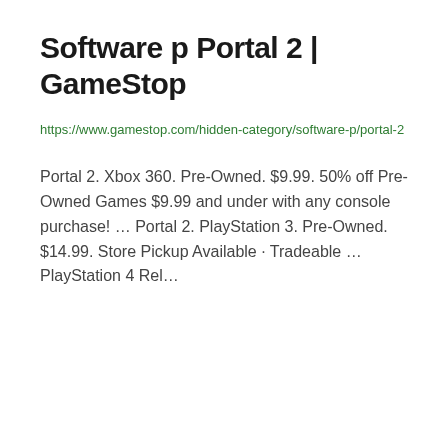Software p Portal 2 | GameStop
https://www.gamestop.com/hidden-category/software-p/portal-2
Portal 2. Xbox 360. Pre-Owned. $9.99. 50% off Pre-Owned Games $9.99 and under with any console purchase! … Portal 2. PlayStation 3. Pre-Owned. $14.99. Store Pickup Available · Tradeable … PlayStation 4 Rel…